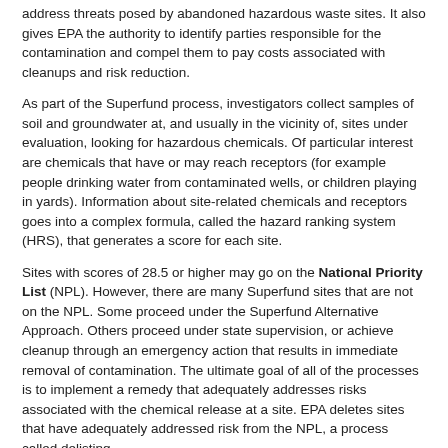address threats posed by abandoned hazardous waste sites. It also gives EPA the authority to identify parties responsible for the contamination and compel them to pay costs associated with cleanups and risk reduction.
As part of the Superfund process, investigators collect samples of soil and groundwater at, and usually in the vicinity of, sites under evaluation, looking for hazardous chemicals. Of particular interest are chemicals that have or may reach receptors (for example people drinking water from contaminated wells, or children playing in yards). Information about site-related chemicals and receptors goes into a complex formula, called the hazard ranking system (HRS), that generates a score for each site.
Sites with scores of 28.5 or higher may go on the National Priority List (NPL). However, there are many Superfund sites that are not on the NPL. Some proceed under the Superfund Alternative Approach. Others proceed under state supervision, or achieve cleanup through an emergency action that results in immediate removal of contamination. The ultimate goal of all of the processes is to implement a remedy that adequately addresses risks associated with the chemical release at a site. EPA deletes sites that have adequately addressed risk from the NPL, a process called delisting.
about · contact · eco-usa.net · privacy · terms